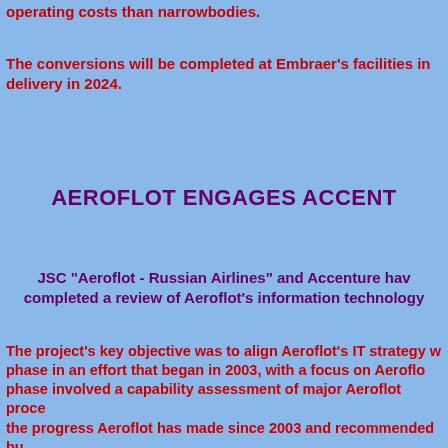operating costs than narrowbodies.
The conversions will be completed at Embraer's facilities in ... delivery in 2024.
AEROFLOT ENGAGES ACCENT...
JSC "Aeroflot - Russian Airlines" and Accenture have completed a review of Aeroflot's information technology...
The project's key objective was to align Aeroflot's IT strategy w... phase in an effort that began in 2003, with a focus on Aeroflot... phase involved a capability assessment of major Aeroflot proces... the progress Aeroflot has made since 2003 and recommended bu... investments that would deliver near term value to Aeroflot.